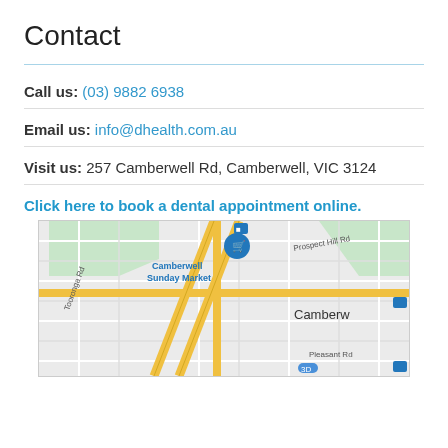Contact
Call us: (03) 9882 6938
Email us: info@dhealth.com.au
Visit us: 257 Camberwell Rd, Camberwell, VIC 3124
Click here to book a dental appointment online.
[Figure (map): Google Maps view of Camberwell area showing intersection of major roads near Camberwell Sunday Market, with street labels: Tooronga Rd, Prospect Hill Rd, Pleasant Rd, and area label Camberwell.]